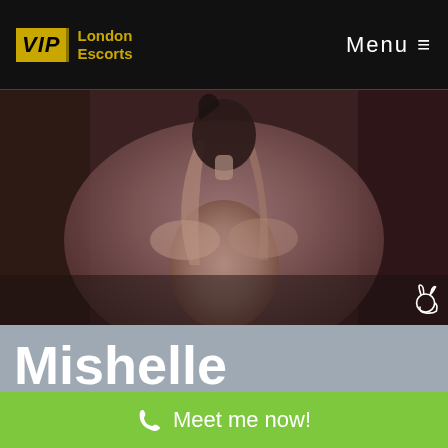VIP London Escorts   Menu ≡
[Figure (photo): Dark atmospheric photo of a woman with arms raised, bookshelf background, Playboy bunny logo watermark in bottom right]
Mishelle
[Figure (photo): Partial photo strip showing a woman's head with light hair]
Meet me now!